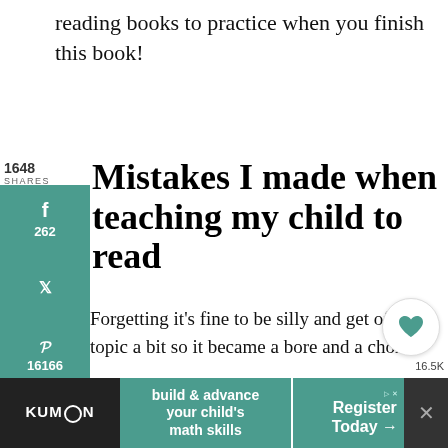reading books to practice when you finish this book!
Mistakes I made when teaching my child to read
Forgetting it's fine to be silly and get off topic a bit so it became a bore and a chore
Failing to come with LOTS of patience. The book can teach a kid to read but it can't make them love to read.
[Figure (screenshot): Social media share sidebar with Facebook (262), Twitter, Pinterest (16166), Reddit buttons in teal]
[Figure (screenshot): Heart/like button with 16.5K count and share button floating on right side]
[Figure (screenshot): What's Next promo box: Our Relaxed Kindergarte...]
[Figure (screenshot): Kumon advertisement banner: build & advance your child's math skills, Register Today]